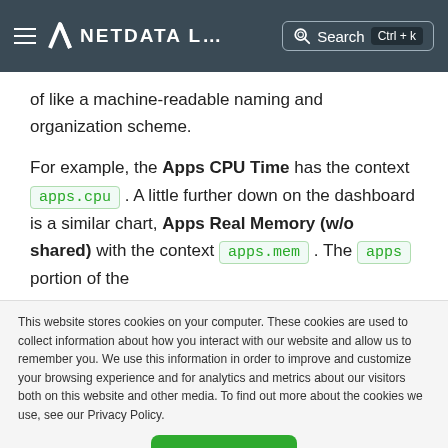NETDATA L… Search Ctrl+k
of like a machine-readable naming and organization scheme.
For example, the Apps CPU Time has the context apps.cpu . A little further down on the dashboard is a similar chart, Apps Real Memory (w/o shared) with the context apps.mem . The apps portion of the
This website stores cookies on your computer. These cookies are used to collect information about how you interact with our website and allow us to remember you. We use this information in order to improve and customize your browsing experience and for analytics and metrics about our visitors both on this website and other media. To find out more about the cookies we use, see our Privacy Policy.
Accept